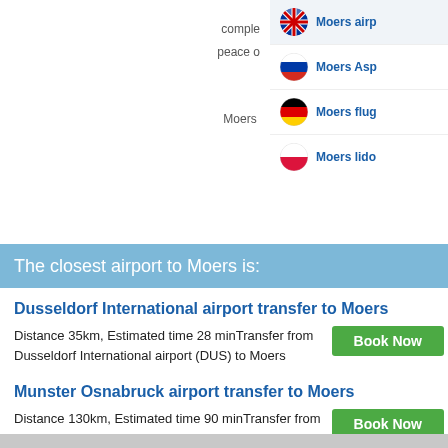comple... peace o...
The closest airport to Moers is:
Dusseldorf International airport transfer to Moers
Distance 35km, Estimated time 28 minTransfer from Dusseldorf International airport (DUS) to Moers
Munster Osnabruck airport transfer to Moers
Distance 130km, Estimated time 90 minTransfer from Munster Osnabruck airport (FMO) to Moers
Frankfurt am Main airport transfer to Moers
Distance 257km, Estimated time 180 minTransfer from Frankfurt am Main airport (FRA) to Moers
[Figure (screenshot): Dropdown language menu with flags: UK (Moers airp...), Russia (Moers Asp...), Germany (Moers flug...), Poland (Moers lido...)]